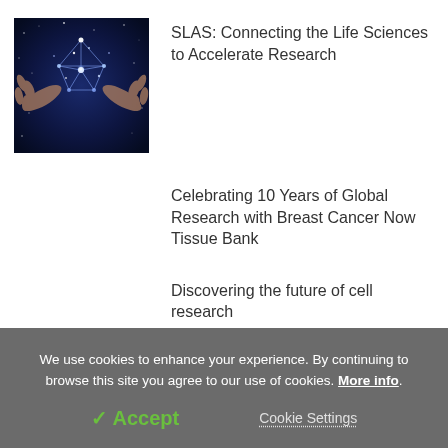[Figure (photo): Scientific image showing glowing hands pointing at a geometric crystal structure with light particles against a dark blue cosmic background]
SLAS: Connecting the Life Sciences to Accelerate Research
Celebrating 10 Years of Global Research with Breast Cancer Now Tissue Bank
Discovering the future of cell research
We use cookies to enhance your experience. By continuing to browse this site you agree to our use of cookies. More info.
✓ Accept
Cookie Settings